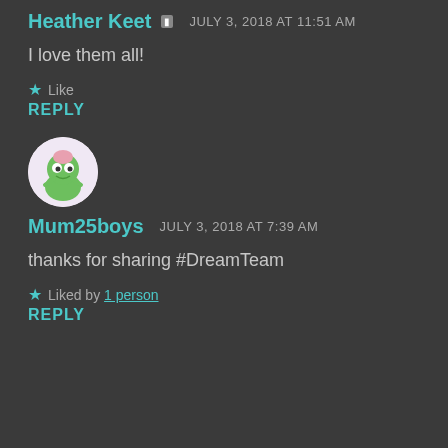Heather Keet · JULY 3, 2018 AT 11:51 AM
I love them all!
★ Like
REPLY
[Figure (illustration): Avatar of Mum25boys: a cartoon green frog/creature with pink detail, circular avatar]
Mum25boys · JULY 3, 2018 AT 7:39 AM
thanks for sharing #DreamTeam
★ Liked by 1 person
REPLY